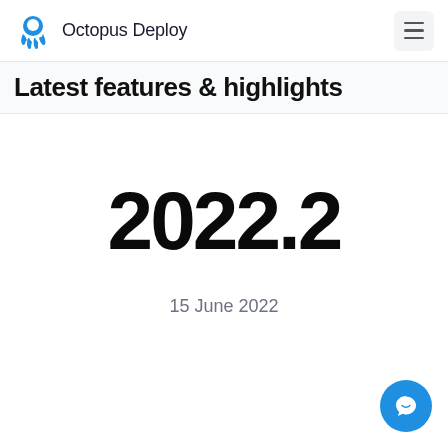Octopus Deploy
Latest features & highlights
2022.2
15 June 2022